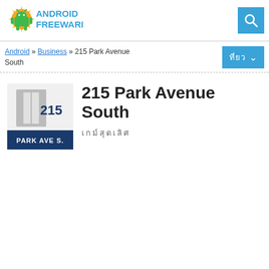[Figure (logo): Android Freeware logo with Android robot icon and yellow sun rays, text 'ANDROID FREEWARE']
[Figure (other): Blue search button with magnifying glass icon]
Android » Business » 215 Park Avenue South
[Figure (other): Blue language selector button with dropdown arrow and Thai characters]
[Figure (illustration): 215 Park Avenue South app icon: dark blue background with building number 215 and PARK AVE S. text]
215 Park Avenue South
เกมส์สุดเลิศ